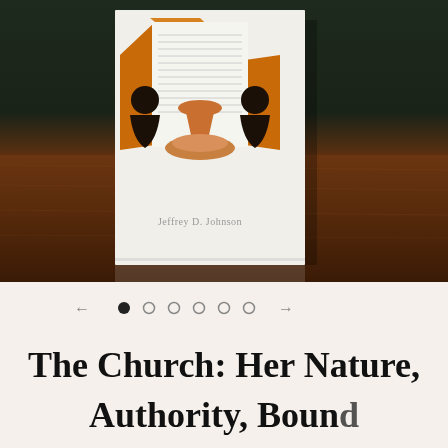[Figure (photo): A photograph of a book titled 'The Church: Her Nature, Authority, Bound, and Order' by Jeffrey D. Johnson, placed on a wooden table. The book cover features an illustration of people around a communion table inside a house-shaped frame with orange/amber colors.]
[Figure (other): Carousel navigation with left arrow, 6 dots (first filled, rest empty), and right arrow]
The Church: Her Nature,